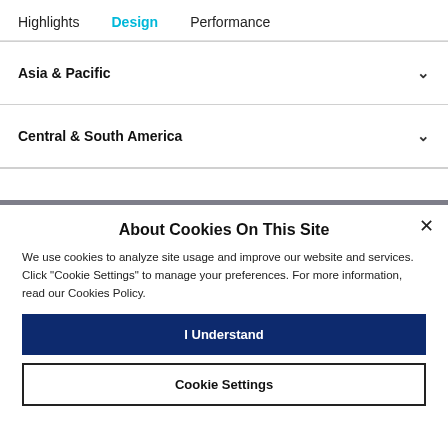Highlights  Design  Performance
Asia & Pacific
Central & South America
About Cookies On This Site
We use cookies to analyze site usage and improve our website and services. Click "Cookie Settings" to manage your preferences. For more information, read our Cookies Policy.
I Understand
Cookie Settings